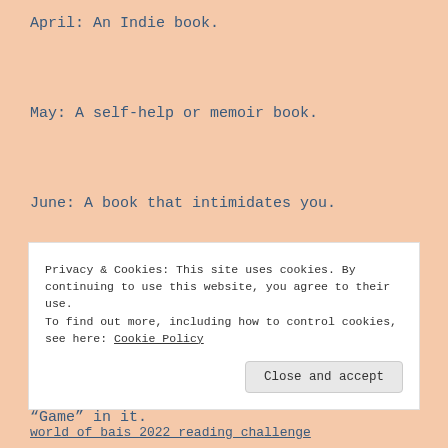April: An Indie book.
May: A self-help or memoir book.
June: A book that intimidates you.
July: Book title that starts with the first letter of your name.
August: A book title that has the word “Game” in it.
September: A book written from the villains prospective.
Privacy & Cookies: This site uses cookies. By continuing to use this website, you agree to their use.
To find out more, including how to control cookies, see here: Cookie Policy
world of bais 2022 reading challenge